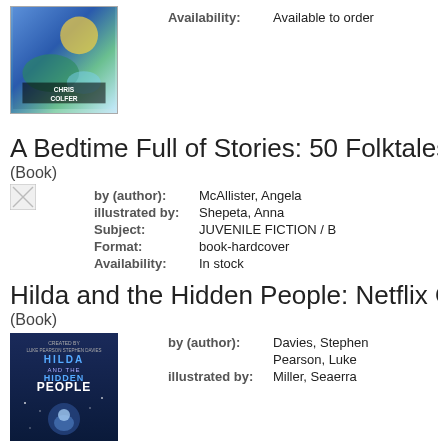[Figure (illustration): Book cover image (partially cropped) with colorful illustration, Chris Colfer author tag]
Availability: Available to order
A Bedtime Full of Stories: 50 Folktales and Legen...
(Book)
[Figure (illustration): Broken/missing book cover image placeholder]
by (author): McAllister, Angela
illustrated by: Shepeta, Anna
Subject: JUVENILE FICTION / B
Format: book-hardcover
Availability: In stock
Hilda and the Hidden People: Netflix Original Ser...
(Book)
[Figure (illustration): Hilda and the Hidden People book cover - dark blue with stylized text]
by (author): Davies, Stephen
               Pearson, Luke
illustrated by: Miller, Seaerra